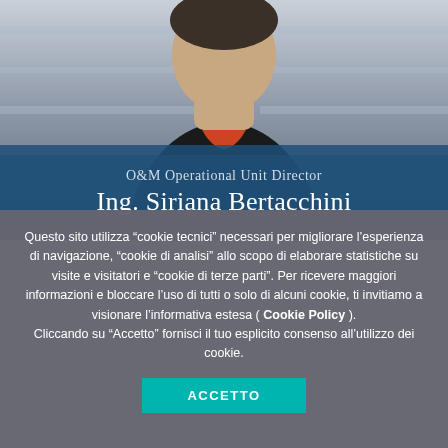[Figure (photo): Portrait photo of a person (Ing. Siriana Bertacchini) with blurred background, wearing a dark jacket with orange/red collar detail]
O&M Operational Unit Director
Ing. Siriana Bertacchini
Questo sito utilizza “cookie tecnici” necessari per migliorare l’esperienza di navigazione, “cookie di analisi” allo scopo di elaborare statistiche su visite e visitatori e “cookie di terze parti”. Per ricevere maggiori informazioni e bloccare l’uso di tutti o solo di alcuni cookie, ti invitiamo a visionare l’informativa estesa ( Cookie Policy ).
Cliccando su "Accetto" fornisci il tuo esplicito consenso all’utilizzo dei cookie.
ACCETTO